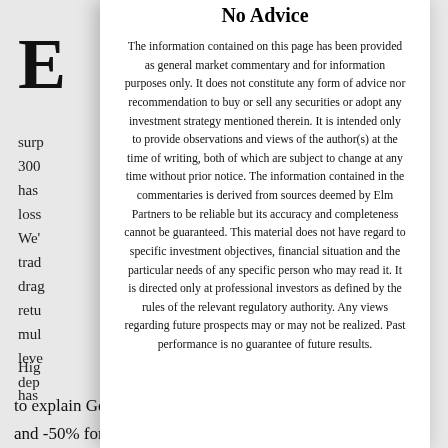E
surp
300
has
loss
We'
trad
drag
retu
mul
leve
dep
Hig
has
n a
flat.
y
x
lity
ugh
No Advice
The information contained on this page has been provided as general market commentary and for information purposes only. It does not constitute any form of advice nor recommendation to buy or sell any securities or adopt any investment strategy mentioned therein. It is intended only to provide observations and views of the author(s) at the time of writing, both of which are subject to change at any time without prior notice. The information contained in the commentaries is derived from sources deemed by Elm Partners to be reliable but its accuracy and completeness cannot be guaranteed. This material does not have regard to specific investment objectives, financial situation and the particular needs of any specific person who may read it. It is directed only at professional investors as defined by the rules of the relevant regulatory authority. Any views regarding future prospects may or may not be realized. Past performance is no guarantee of future results.
to explain George’s realized return of -20% for SPXL and -50% for SPXS relative to the market return of